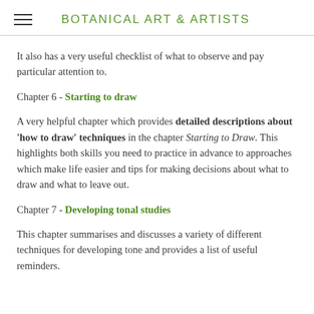BOTANICAL ART & ARTISTS
It also has a very useful checklist of what to observe and pay particular attention to.
Chapter 6 - Starting to draw
A very helpful chapter which provides detailed descriptions about 'how to draw' techniques in the chapter Starting to Draw. This highlights both skills you need to practice in advance to approaches which make life easier and tips for making decisions about what to draw and what to leave out.
Chapter 7 - Developing tonal studies
This chapter summarises and discusses a variety of different techniques for developing tone and provides a list of useful reminders.